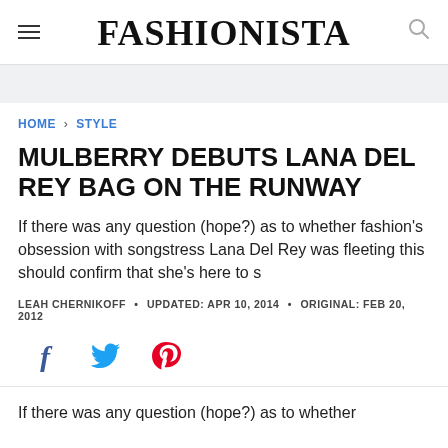FASHIONISTA
HOME > STYLE
MULBERRY DEBUTS LANA DEL REY BAG ON THE RUNWAY
If there was any question (hope?) as to whether fashion's obsession with songstress Lana Del Rey was fleeting this should confirm that she's here to s
LEAH CHERNIKOFF • UPDATED: APR 10, 2014 • ORIGINAL: FEB 20, 2012
[Figure (other): Social media sharing icons: Facebook, Twitter, Pinterest]
If there was any question (hope?) as to whether